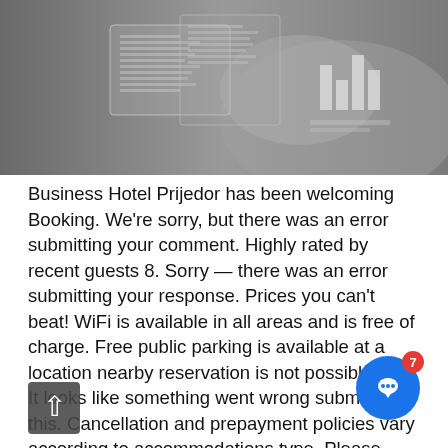[Figure (photo): Black and white photo of a hand holding a smartphone or tablet device, with overlaid digital/data graphics and a bar chart icon visible on the screen]
Business Hotel Prijedor has been welcoming Booking. We're sorry, but there was an error submitting your comment. Highly rated by recent guests 8. Sorry — there was an error submitting your response. Prices you can't beat! WiFi is available in all areas and is free of charge. Free public parking is available at a location nearby reservation is not possible.
It looks like something went wrong submitting this. Cancellation and prepayment policies vary according to accommodations type. Please enter the dates of your stay and check what conditions apply to your preferred room. To see correct prices and occupancy info, add the number and ages of children in your group to your s… Cards accepted at this hotel. Business Hotel Prijedo… accepts these cards and reserves the right to temporarily